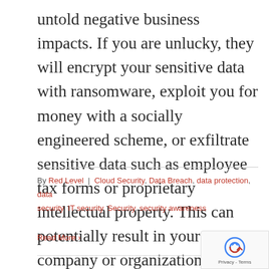untold negative business impacts. If you are unlucky, they will encrypt your sensitive data with ransomware, exploit you for money with a socially engineered scheme, or exfiltrate sensitive data such as employee tax forms or proprietary intellectual property. This can potentially result in your company or organization ceasing to exist.  To [...]
By Red Level | Cloud Security, Data Breach, data protection, data security, IT security, Security, security awareness
Read More ›